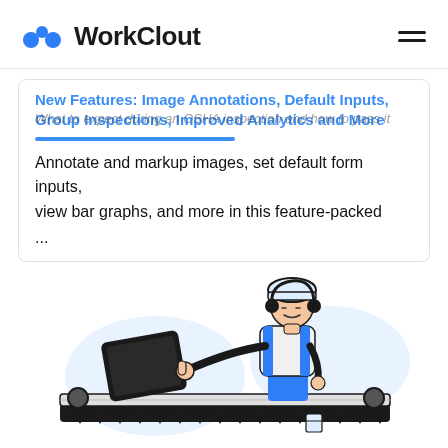WorkClout
New Features: Image Annotations, Default Inputs, Group Inspections, Improved Analytics and More
What to expect during an OSHA inspection and how to pass it
Annotate and markup images, set default form inputs, view bar graphs, and more in this feature-packed ...
[Figure (illustration): Illustration of a worker in a hard hat and overalls holding a tablet device, with headphones around his neck. The worker stands near industrial conveyor belt machinery. Blue decorative blob shapes are in the background. The illustration uses a flat design style with black outlines and blue/white colors.]